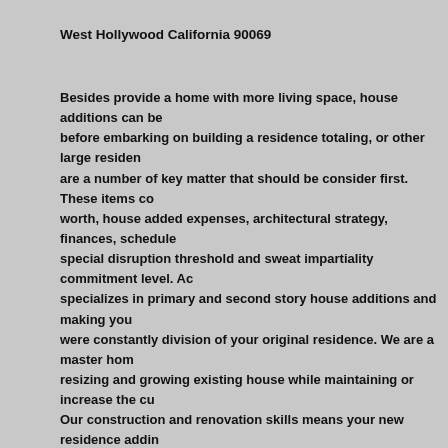West Hollywood California 90069
Besides provide a home with more living space, house additions can be before embarking on building a residence totaling, or other large residen are a number of key matter that should be consider first. These items co worth, house added expenses, architectural strategy, finances, schedule special disruption threshold and sweat impartiality commitment level. Ac specializes in primary and second story house additions and making you were constantly division of your original residence. We are a master hom resizing and growing existing house while maintaining or increase the cu Our construction and renovation skills means your new residence addin become out improved than you constanly imagined. We are constantly lo advance your house scheme. We are experts at energy resourceful solut commonly related with main home improvement, addition, renovation, ex practiced} owner}, {including general contractor effort you can depend o suggest excellent remodel and renovations work, including house maintenanc services. Our registered and licensed contractors are the top for their detail re center or external work or required a small of equal, our team of professionals changes and upgrades are precise for you. We give repair, remodeling and co and commercial property owners, include residence additions, restroom remode remodeling, energy effectiveness preparation and upgrading, flooring, roofing, other service. From miniature maintenance to remodel your kitchen your